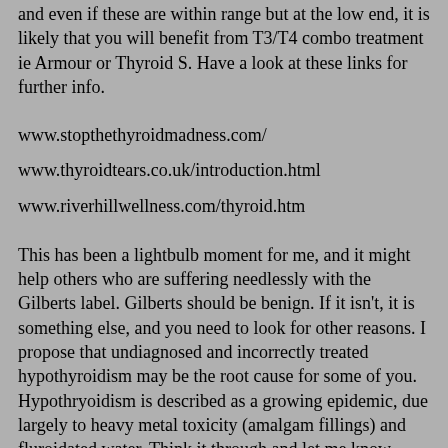and even if these are within range but at the low end, it is likely that you will benefit from T3/T4 combo treatment ie Armour or Thyroid S. Have a look at these links for further info.
www.stopthethyroidmadness.com/
www.thyroidtears.co.uk/introduction.html
www.riverhillwellness.com/thyroid.htm
This has been a lightbulb moment for me, and it might help others who are suffering needlessly with the Gilberts label. Gilberts should be benign. If it isn't, it is something else, and you need to look for other reasons. I propose that undiagnosed and incorrectly treated hypothyroidism may be the root cause for some of you. Hypothryoidism is described as a growing epidemic, due largely to heavy metal toxicity (amalgam fillings) and fluroidated water. Think it through and let me know what you think.
Nicola
kdhsgf
GWMB Power User
Posts: 102